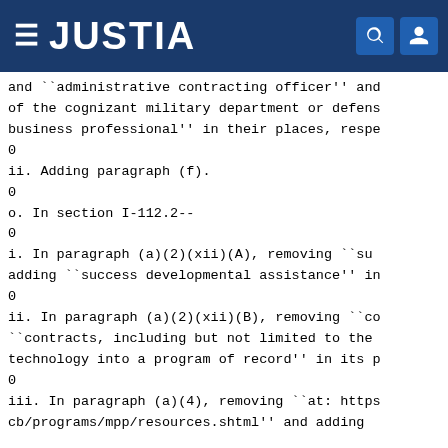JUSTIA
and ``administrative contracting officer'' and of the cognizant military department or defense business professional'' in their places, respectively.
0
ii. Adding paragraph (f).
0
o. In section I-112.2--
0
i. In paragraph (a)(2)(xii)(A), removing ``success developmental assistance'' in adding ``success developmental assistance'' in
0
ii. In paragraph (a)(2)(xii)(B), removing ``contracts, including but not limited to the technology into a program of record'' in its place.
0
iii. In paragraph (a)(4), removing ``at: https cb/programs/mpp/resources.shtml'' and adding